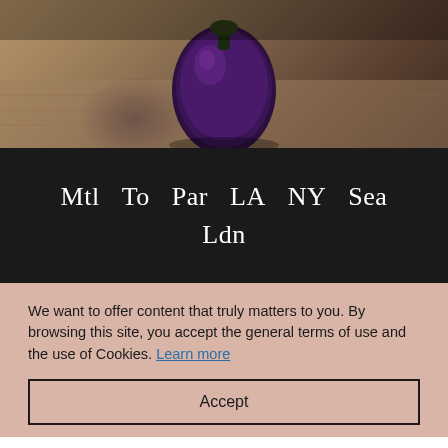[Figure (photo): A decorative dark purple/eggplant-shaped object on a wooden surface, partially cropped at the top of the page]
Mtl  To  Par  LA  NY  Sea  Ldn
We want to offer content that truly matters to you. By browsing this site, you accept the general terms of use and the use of Cookies. Learn more
Accept